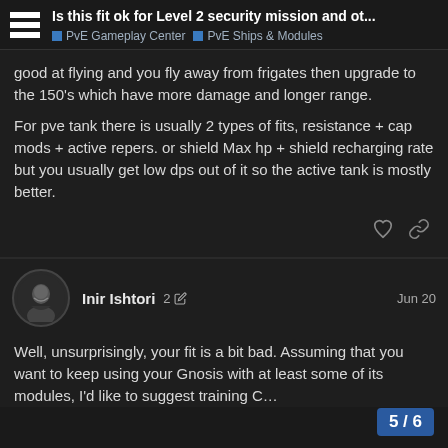Is this fit ok for Level 2 security mission and ot... | PvE Gameplay Center | PvE Ships & Modules
good at flying and you fly away from frigates then upgrade to the 150's which have more damage and longer range.

For pve tank there is usually 2 types of fits, resistance + cap mods + active repers. or shield Max hp + shield recharging rate but you usually get low dps out of it so the active tank is mostly better.
Inir Ishtori  2  Jun 20
Well, unsurprisingly, your fit is a bit bad. Assuming that you want to keep using your Gnosis with at least some of its modules, I'd like to suggest training C…